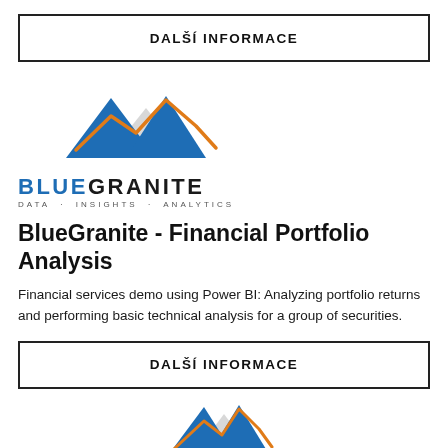DALŠÍ INFORMACE
[Figure (logo): BlueGranite logo: mountain peaks in blue and orange/gold with company name BLUEGRANITE and tagline DATA · INSIGHTS · ANALYTICS]
BlueGranite - Financial Portfolio Analysis
Financial services demo using Power BI: Analyzing portfolio returns and performing basic technical analysis for a group of securities.
DALŠÍ INFORMACE
[Figure (logo): BlueGranite logo (partial, bottom of page): mountain peaks in blue and orange/gold]